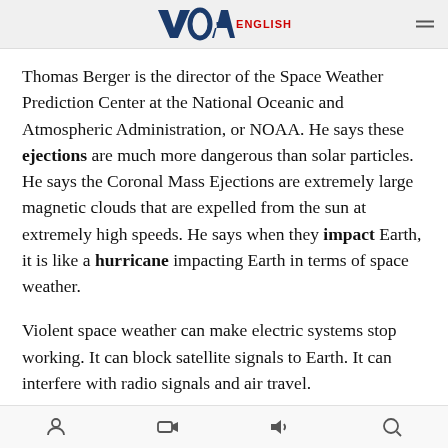VOA ENGLISH
Thomas Berger is the director of the Space Weather Prediction Center at the National Oceanic and Atmospheric Administration, or NOAA. He says these ejections are much more dangerous than solar particles. He says the Coronal Mass Ejections are extremely large magnetic clouds that are expelled from the sun at extremely high speeds. He says when they impact Earth, it is like a hurricane impacting Earth in terms of space weather.
Violent space weather can make electric systems stop working. It can block satellite signals to Earth. It can interfere with radio signals and air travel.
Mr. Berger says we cannot stop the ejections from